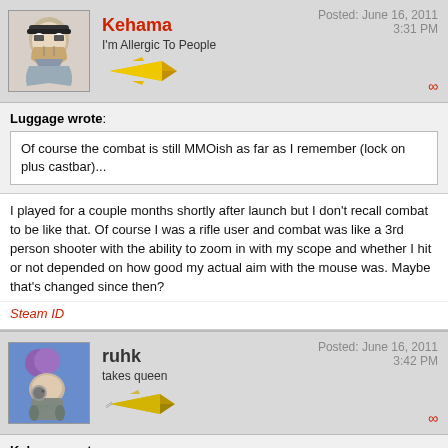Kehama — I'm Allergic To People — Posted: June 16, 2011 3:31 PM
Luggage wrote:
Of course the combat is still MMOish as far as I remember (lock on plus castbar)...
I played for a couple months shortly after launch but I don't recall combat to be like that. Of course I was a rifle user and combat was like a 3rd person shooter with the ability to zoom in with my scope and whether I hit or not depended on how good my actual aim with the mouse was. Maybe that's changed since then?
Steam ID
ruhk — takes queen — Posted: June 16, 2011 3:42 PM
Kehama wrote: